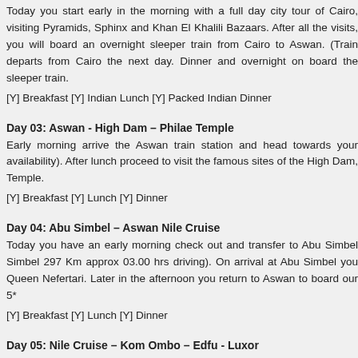Today you start early in the morning with a full day city tour of Cairo, visiting Pyramids, Sphinx and Khan El Khalili Bazaars. After all the visits, you will board an overnight sleeper train from Cairo to Aswan. (Train departs from Cairo the next day. Dinner and overnight on board the sleeper train.
[Y] Breakfast [Y] Indian Lunch [Y] Packed Indian Dinner
Day 03: Aswan - High Dam – Philae Temple
Early morning arrive the Aswan train station and head towards your availability). After lunch proceed to visit the famous sites of the High Dam, Temple.
[Y] Breakfast [Y] Lunch [Y] Dinner
Day 04: Abu Simbel – Aswan Nile Cruise
Today you have an early morning check out and transfer to Abu Simbel Simbel 297 Km approx 03.00 hrs driving). On arrival at Abu Simbel you Queen Nefertari. Later in the afternoon you return to Aswan to board our 5*
[Y] Breakfast [Y] Lunch [Y] Dinner
Day 05: Nile Cruise – Kom Ombo – Edfu - Luxor
Early sail to Kom Ombo, visit Kom Ombo Temple. Sail to Edfu and visit overnight.
[Y] Breakfast [Y] Lunch [Y] Dinner